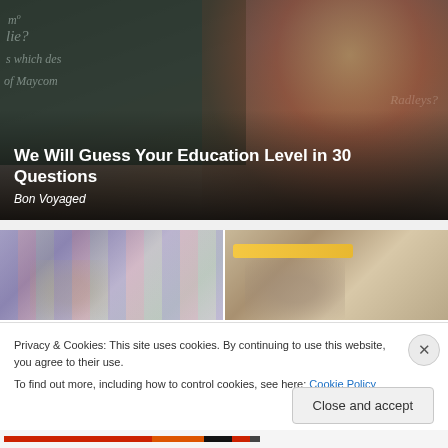[Figure (photo): A blonde woman in a red top pointing at a chalkboard with chalk writing visible including 'lie?', 'which des', 'of Maycom', 'Radleys?']
We Will Guess Your Education Level in 30 Questions
Bon Voyaged
[Figure (photo): Two thumbnail images side by side showing educational or quiz-related scenes]
Privacy & Cookies: This site uses cookies. By continuing to use this website, you agree to their use.
To find out more, including how to control cookies, see here: Cookie Policy
Close and accept